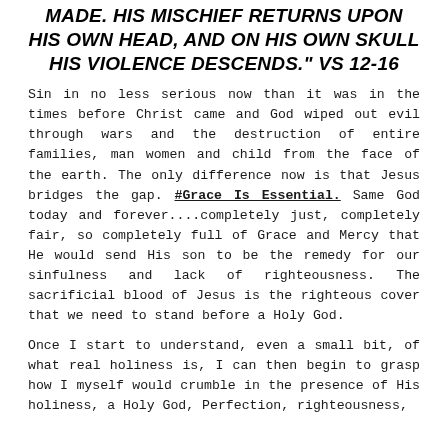MADE. HIS MISCHIEF RETURNS UPON HIS OWN HEAD, AND ON HIS OWN SKULL HIS VIOLENCE DESCENDS." VS 12-16
Sin in no less serious now than it was in the times before Christ came and God wiped out evil through wars and the destruction of entire families, man women and child from the face of the earth. The only difference now is that Jesus bridges the gap. #Grace Is Essential. Same God today and forever....completely just, completely fair, so completely full of Grace and Mercy that He would send His son to be the remedy for our sinfulness and lack of righteousness. The sacrificial blood of Jesus is the righteous cover that we need to stand before a Holy God.
Once I start to understand, even a small bit, of what real holiness is, I can then begin to grasp how I myself would crumble in the presence of His holiness, a Holy God, Perfection, righteousness,